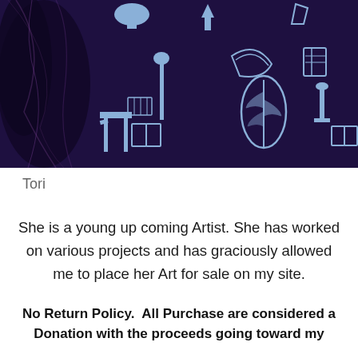[Figure (illustration): Dark purple background with light blue-purple illustrated art icons including feathers, arrows, chairs, mushrooms, books, and banana shapes. A person's hair is partially visible on the left side.]
Tori
She is a young up coming Artist. She has worked on various projects and has graciously allowed me to place her Art for sale on my site.
No Return Policy.  All Purchase are considered a Donation with the proceeds going toward my